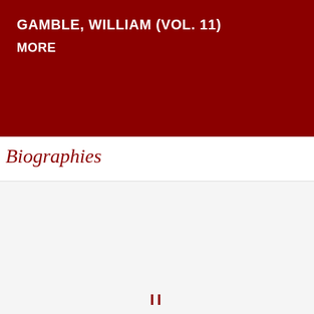GAMBLE, WILLIAM (VOL. 11)
MORE
Biographies
[Figure (illustration): Pen-and-ink illustration of William Gamble's Store in Etobigoke, with a sign reading 'J.G. ROGERS' and a figure walking along a dirt road in front of the store.]
GAMBLE, WILLIAM
[Figure (photo): Black and white portrait photograph of a man with a mustache in formal attire, partially cropped.]
CLERGUE, HECT